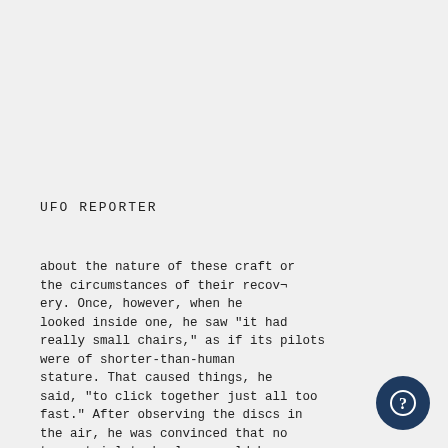UFO REPORTER
about the nature of these craft or the circumstances of their recovery. Once, however, when he looked inside one, he saw "it had really small chairs," as if its pilots were of shorter-than-human stature. That caused things, he said, "to click together just all too fast." After observing the discs in the air, he was convinced that no terrestrial technology could have accomplished what he was seeing. But what clinched matters for him was his discovering that